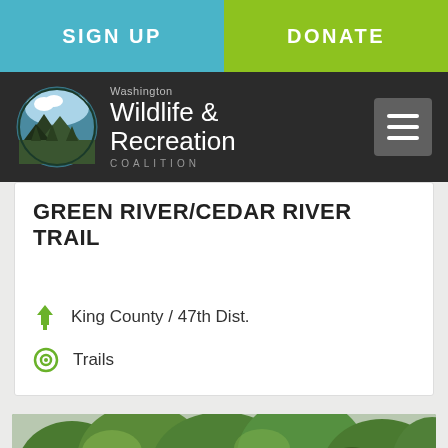SIGN UP
DONATE
[Figure (logo): Washington Wildlife & Recreation Coalition circular logo with mountain and forest scene, followed by text 'Washington Wildlife & Recreation COALITION' and hamburger menu icon]
GREEN RIVER/CEDAR RIVER TRAIL
King County / 47th Dist.
Trails
[Figure (photo): Photo of a forested trail area with dense green deciduous trees against a cloudy sky]